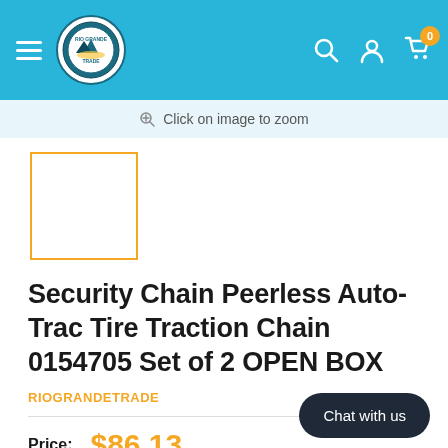Rio Grande Trade — navigation header with hamburger menu, logo, search, account, and cart (0 items)
Click on image to zoom
[Figure (photo): Product thumbnail placeholder — orange-bordered square image thumbnail]
Security Chain Peerless Auto-Trac Tire Traction Chain 0154705 Set of 2 OPEN BOX
RIOGRANDETRADE
Price: $86.13
Chat with us